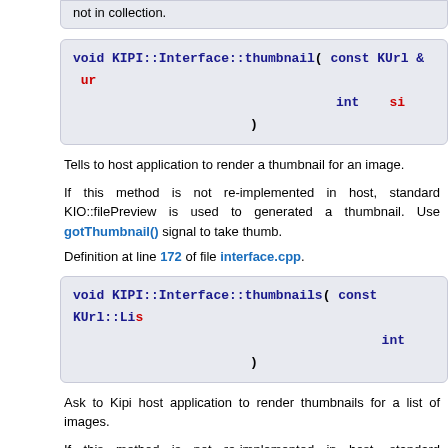not in collection.
void KIPI::Interface::thumbnail ( const KUrl & url, int size )
Tells to host application to render a thumbnail for an image.
If this method is not re-implemented in host, standard KIO::filePreview is used to generated a thumbnail. Use gotThumbnail() signal to take thumb.
Definition at line 172 of file interface.cpp.
void KIPI::Interface::thumbnails ( const KUrl::List &, int )
Ask to Kipi host application to render thumbnails for a list of images.
If this method is not re-implemented in host, standard KIO::filePreview is used to